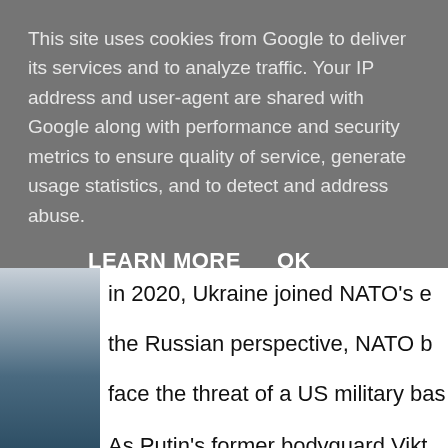This site uses cookies from Google to deliver its services and to analyze traffic. Your IP address and user-agent are shared with Google along with performance and security metrics to ensure quality of service, generate usage statistics, and to detect and address abuse.
LEARN MORE    OK
in 2020, Ukraine joined NATO's e... the Russian perspective, NATO b... face the threat of a US military bas...
As Putin's former bodyguard Vikt... Ukraine, we have a border with Am...